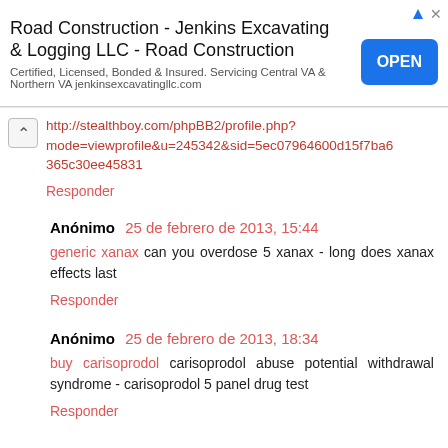[Figure (other): Advertisement banner: Road Construction - Jenkins Excavating & Logging LLC - Road Construction. OPEN button. Certified, Licensed, Bonded & Insured. Servicing Central VA & Northern VA jenkinsexcavatingllc.com]
http://stealthboy.com/phpBB2/profile.php?mode=viewprofile&u=245342&sid=5ec07964600d15f7ba6365c30ee45831
Responder
Anónimo 25 de febrero de 2013, 15:44
generic xanax can you overdose 5 xanax - long does xanax effects last
Responder
Anónimo 25 de febrero de 2013, 18:34
buy carisoprodol carisoprodol abuse potential withdrawal syndrome - carisoprodol 5 panel drug test
Responder